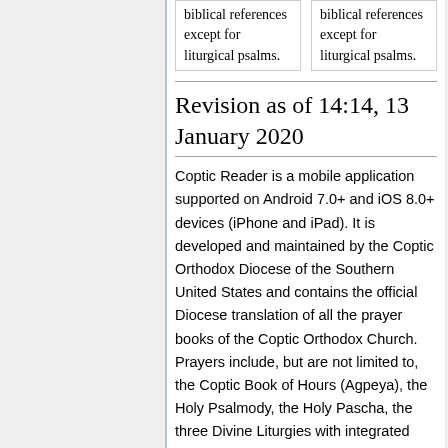| biblical references except for liturgical psalms. | biblical references except for liturgical psalms. |
Revision as of 14:14, 13 January 2020
Coptic Reader is a mobile application supported on Android 7.0+ and iOS 8.0+ devices (iPhone and iPad). It is developed and maintained by the Coptic Orthodox Diocese of the Southern United States and contains the official Diocese translation of all the prayer books of the Coptic Orthodox Church. Prayers include, but are not limited to, the Coptic Book of Hours (Agpeya), the Holy Psalmody, the Holy Pascha, the three Divine Liturgies with integrated